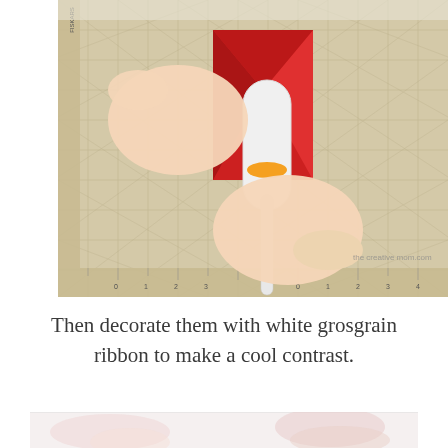[Figure (photo): Hands using a bone folder or scoring tool on folded red origami/paper gift box pieces placed on a Fiskars cutting mat with grid lines and ruler markings visible.]
Then decorate them with white grosgrain ribbon to make a cool contrast.
[Figure (photo): Partial view of pink patterned paper or fabric pieces on a light background, partially cropped at bottom of page.]